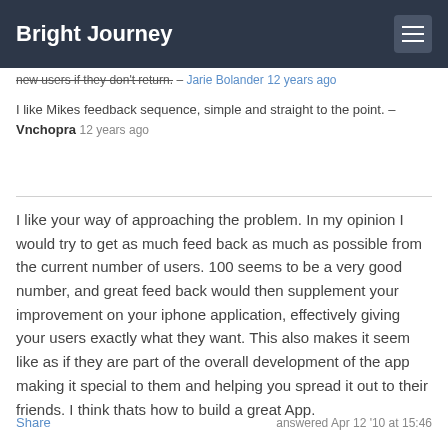Bright Journey
new users if they don't return. – Jarie Bolander 12 years ago
I like Mikes feedback sequence, simple and straight to the point. – Vnchopra 12 years ago
I like your way of approaching the problem. In my opinion I would try to get as much feed back as much as possible from the current number of users. 100 seems to be a very good number, and great feed back would then supplement your improvement on your iphone application, effectively giving your users exactly what they want. This also makes it seem like as if they are part of the overall development of the app making it special to them and helping you spread it out to their friends. I think thats how to build a great App.
Share   answered Apr 12 '10 at 15:46